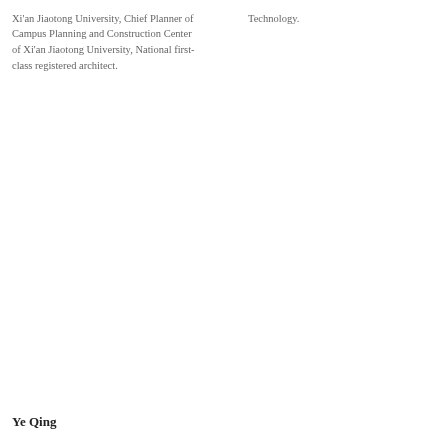Xi'an Jiaotong University, Chief Planner of Campus Planning and Construction Center of Xi'an Jiaotong University, National first-class registered architect.
Technology.
Ye Qing